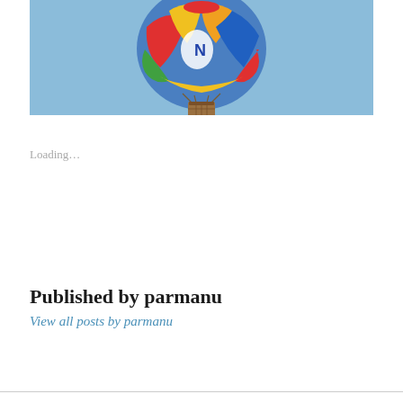[Figure (photo): A colorful hot air balloon floating against a clear blue sky, photographed from below. The balloon has red, yellow, blue, and green panels with visible letters. A brown wicker basket hangs below.]
Loading…
Published by parmanu
View all posts by parmanu